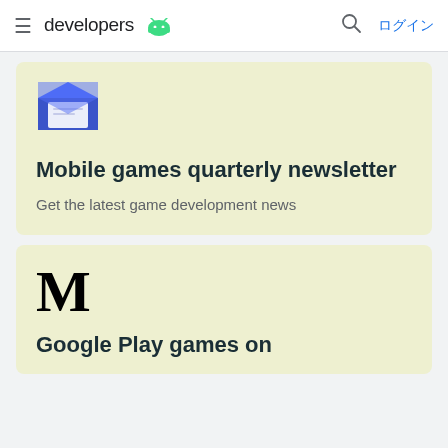developers [Android logo] ログイン
[Figure (illustration): Blue open envelope icon with white letter inside]
Mobile games quarterly newsletter
Get the latest game development news
[Figure (logo): Medium 'M' logo in large serif black font]
Google Play games on